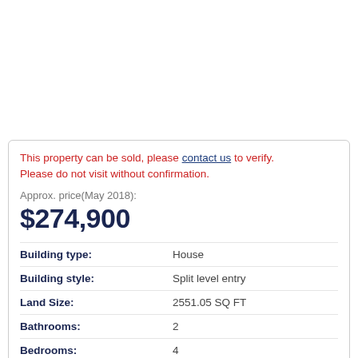This property can be sold, please contact us to verify. Please do not visit without confirmation.
Approx. price(May 2018):
$274,900
| Property | Value |
| --- | --- |
| Building type: | House |
| Building style: | Split level entry |
| Land Size: | 2551.05 SQ FT |
| Bathrooms: | 2 |
| Bedrooms: | 4 |
| Cooling: | Heat Pump |